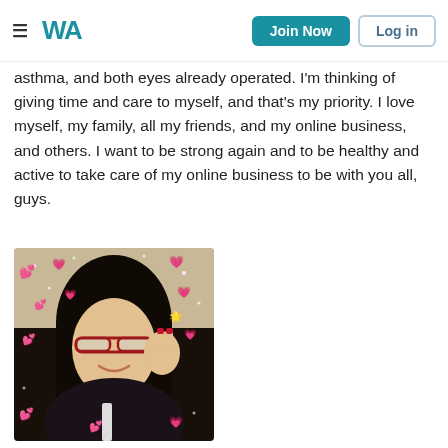≡ WA  Join Now  Log in
asthma, and both eyes already operated. I'm thinking of giving time and care to myself, and that's my priority. I love myself, my family, all my friends, and my online business, and others. I want to be strong again and to be healthy and active to take care of my online business to be with you all, guys.
[Figure (photo): Selfie of a woman with red glasses making a peace sign, wearing a dark floral top, with pink heart emojis overlaid on the photo]